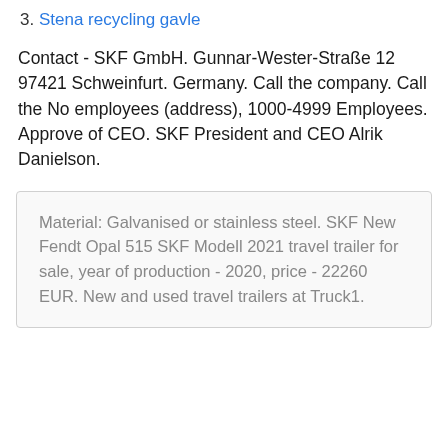3. Stena recycling gavle
Contact - SKF GmbH. Gunnar-Wester-Straße 12 97421 Schweinfurt. Germany. Call the company. Call the No employees (address), 1000-4999 Employees. Approve of CEO. SKF President and CEO Alrik Danielson.
Material: Galvanised or stainless steel. SKF New Fendt Opal 515 SKF Modell 2021 travel trailer for sale, year of production - 2020, price - 22260 EUR. New and used travel trailers at Truck1.